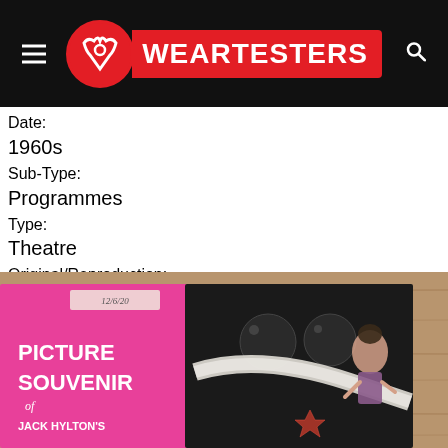WEARTESTERS
Date:
1960s
Sub-Type:
Programmes
Type:
Theatre
Original/Reproduction:
Original
[Figure (photo): A theatre programme cover showing 'PICTURE SOUVENIR of JACK HYLTON'S' in pink and black, with a woman in costume and decorative spheres visible on the cover, photographed on a wooden surface.]